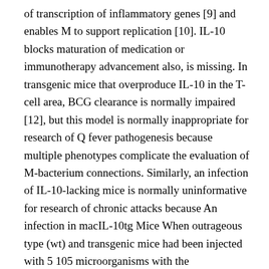of transcription of inflammatory genes [9] and enables M to support replication [10]. IL-10 blocks maturation of medication or immunotherapy advancement also, is missing. In transgenic mice that overproduce IL-10 in the T-cell area, BCG clearance is normally impaired [12], but this model is normally inappropriate for research of Q fever pathogenesis because multiple phenotypes complicate the evaluation of M-bacterium connections. Similarly, an infection of IL-10-lacking mice is normally uninformative for research of chronic attacks because An infection in macIL-10tg Mice When outrageous type (wt) and transgenic mice had been injected with 5 105 microorganisms with the intraperitoneal path, morbidity or mortality had not been observed up to 60 d. Chlamydia was evaluated by qPCR in tissue and dimension of circulating particular antibodies (Abs) by immunofluorescence. Tissues